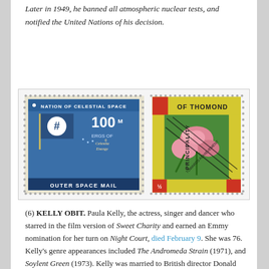Later in 1949, he banned all atmospheric nuclear tests, and notified the United Nations of his decision.
[Figure (illustration): Two postage stamps: left stamp is blue 'Nation of Celestial Space – 100 M Ergs of Celestia Energy – Outer Space Mail' with a flag bearing a hashtag symbol; right stamp is 'Principality of Thomond' showing pink roses with a diagonal overprint/cancellation, yellow border, denomination 1/2.]
(6) KELLY OBIT. Paula Kelly, the actress, singer and dancer who starred in the film version of Sweet Charity and earned an Emmy nomination for her turn on Night Court, died February 9. She was 76. Kelly's genre appearances included The Andromeda Strain (1971), and Soylent Green (1973). Kelly was married to British director Donald Chaffey (One Million Years B.C.) from 1985 until his death in 1990.